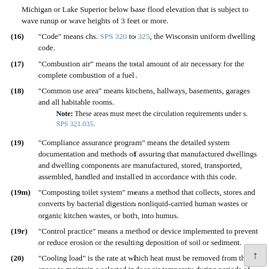Michigan or Lake Superior below base flood elevation that is subject to wave runup or wave heights of 3 feet or more.
(16) “Code” means chs. SPS 320 to 325, the Wisconsin uniform dwelling code.
(17) “Combustion air” means the total amount of air necessary for the complete combustion of a fuel.
(18) “Common use area” means kitchens, hallways, basements, garages and all habitable rooms.
Note: These areas must meet the circulation requirements under s. SPS 321.035.
(19) “Compliance assurance program” means the detailed system documentation and methods of assuring that manufactured dwellings and dwelling components are manufactured, stored, transported, assembled, handled and installed in accordance with this code.
(19m) “Composting toilet system” means a method that collects, stores and converts by bacterial digestion nonliquid-carried human wastes or organic kitchen wastes, or both, into humus.
(19r) “Control practice” means a method or device implemented to prevent or reduce erosion or the resulting deposition of soil or sediment.
(20) “Cooling load” is the rate at which heat must be removed from the space to maintain a selected indoor air temperature during periods of design outdoor weather conditions.